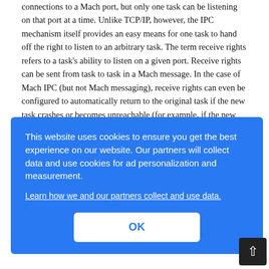connections to a Mach port, but only one task can be listening on that port at a time. Unlike TCP/IP, however, the IPC mechanism itself provides an easy means for one task to hand off the right to listen to an arbitrary task. The term receive rights refers to a task's ability to listen on a given port. Receive rights can be sent from task to task in a Mach message. In the case of Mach IPC (but not Mach messaging), receive rights can even be configured to automatically return to the original task if the new task crashes or becomes unreachable (for example, if the new task is running on another computer and a router crashes). In addition to specifying receive rights, Mach ports can specify which tasks have the [partially obscured] ...e, or ...ne ...Mach ...n ...S X. ...re is ...iven ...ap ...the bootstrap task send rights on another port so that the bootstrap task
[Figure (screenshot): Cookie consent dialog overlay with blue background. Text reads: 'This website uses cookies to ensure you get the best experience on our website. Our partners will collect data and use cookies for ad personalization and measurement.' followed by a link 'Learn how we and our partners collect and use data.' and an OK button.]